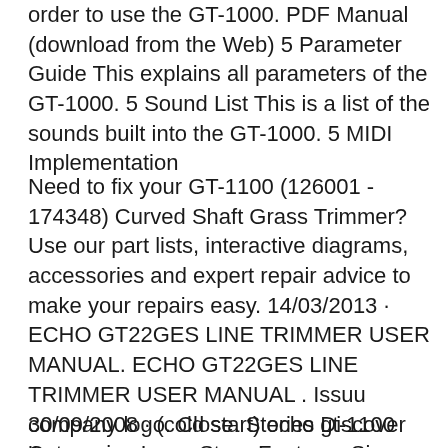order to use the GT-1000. PDF Manual (download from the Web) 5 Parameter Guide This explains all parameters of the GT-1000. 5 Sound List This is a list of the sounds built into the GT-1000. 5 MIDI Implementation
Need to fix your GT-1100 (126001 - 174348) Curved Shaft Grass Trimmer? Use our part lists, interactive diagrams, accessories and expert repair advice to make your repairs easy. 14/03/2013 · ECHO GT22GES LINE TRIMMER USER MANUAL. ECHO GT22GES LINE TRIMMER USER MANUAL . Issuu company logo. Close. Stories Discover Categories Issuu Store Features Sign up Become a Publisher Become a
30/09/2008 · (cold start) echo gt-1100 line